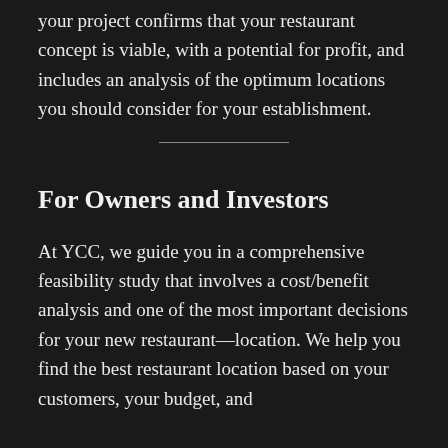your project confirms that your restaurant concept is viable, with a potential for profit, and includes an analysis of the optimum locations you should consider for your establishment.
For Owners and Investors
At YCC, we guide you in a comprehensive feasibility study that involves a cost/benefit analysis and one of the most important decisions for your new restaurant—location. We help you find the best restaurant location based on your customers, your budget, and